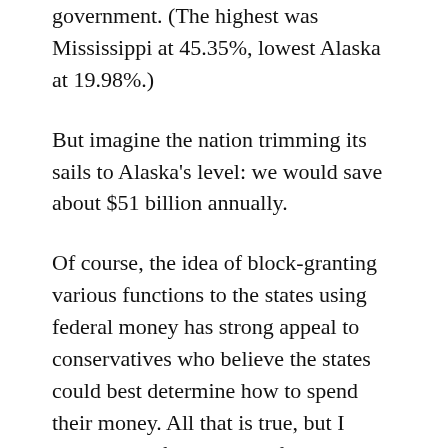government. (The highest was Mississippi at 45.35%, lowest Alaska at 19.98%.)
But imagine the nation trimming its sails to Alaska's level: we would save about $51 billion annually.
Of course, the idea of block-granting various functions to the states using federal money has strong appeal to conservatives who believe the states could best determine how to spend their money. All that is true, but I never cared for the idea of government as pass-through conduit. To me it would be better just to have the state do all the work.
I'm hoping the four gubernatorial candidates